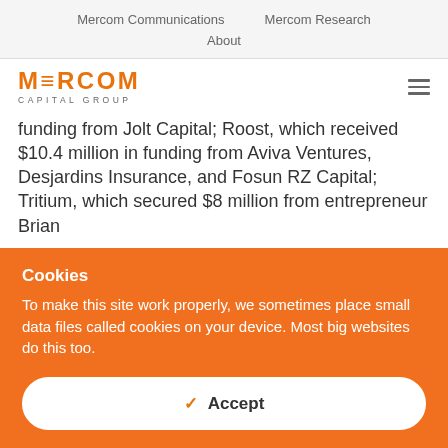Mercom Communications    Mercom Research    About
[Figure (logo): Mercom Capital Group logo with orange MERCOM text and CAPITAL GROUP subtitle]
funding from Jolt Capital; Roost, which received $10.4 million in funding from Aviva Ventures, Desjardins Insurance, and Fosun RZ Capital; Tritium, which secured $8 million from entrepreneur Brian
Cookies
To make this site work properly, we sometimes place small data files called cookies on your device. Most big websites do this too.
✓ Accept